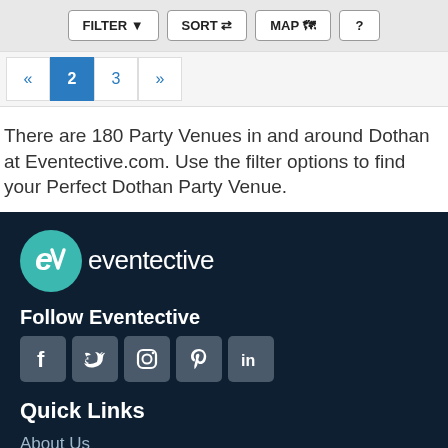[Figure (screenshot): Toolbar with FILTER, SORT, MAP, and ? buttons on a light gray background]
[Figure (screenshot): Pagination bar with « 2 3 » navigation buttons, page 2 highlighted in blue]
There are 180 Party Venues in and around Dothan at Eventective.com. Use the filter options to find your Perfect Dothan Party Venue.
[Figure (logo): Eventective logo: teal circle with stylized letter V, followed by text 'eventective' in white]
Follow Eventective
[Figure (infographic): Social media icons row: Facebook, Twitter, Instagram, Pinterest, LinkedIn — each in a dark square tile]
Quick Links
About Us
Contact